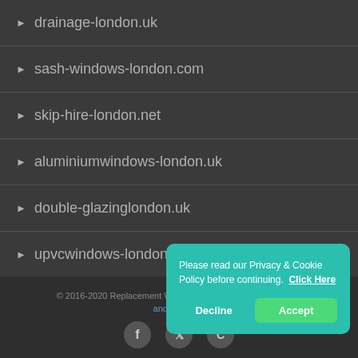drainage-london.uk
sash-windows-london.com
skip-hire-london.net
aluminiumwindows-london.uk
double-glazinglondon.uk
upvcwindows-london.uk
© 2016-2020 Replacement Wind... All Rights Reserved | Terms and Conditions
[Figure (screenshot): Cookie consent popup with teal background: 'Please read our Privacy & Cookie Policy before continuing. Click Here' with Decline and Accept buttons]